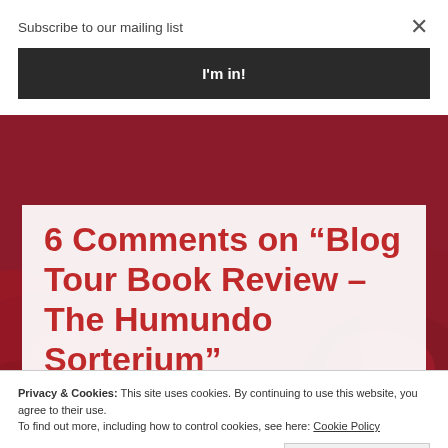Subscribe to our mailing list
I'm in!
6 Comments on “Blog Tour Book Review – The Humundo Sorterium”
Privacy & Cookies: This site uses cookies. By continuing to use this website, you agree to their use.
To find out more, including how to control cookies, see here: Cookie Policy
Close and accept